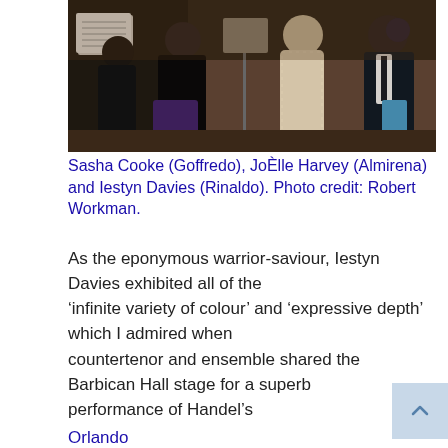[Figure (photo): Performance photo showing Sasha Cooke (Goffredo), JoElle Harvey (Almirena) and Iestyn Davies (Rinaldo) on stage. Musicians visible in background with music stands. Performers in formal concert attire.]
Sasha Cooke (Goffredo), JoÈlle Harvey (Almirena) and Iestyn Davies (Rinaldo). Photo credit: Robert Workman.
As the eponymous warrior-saviour, Iestyn Davies exhibited all of the ‘infinite variety of colour’ and ‘expressive depth’ which I admired when countertenor and ensemble shared the Barbican Hall stage for a superb performance of Handel’s
Orlando